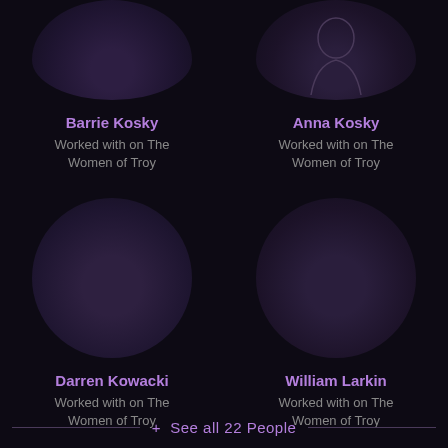[Figure (illustration): Circular avatar placeholder for Barrie Kosky, dark purple circle partially cropped at top]
[Figure (illustration): Circular avatar with silhouette outline for Anna Kosky, dark purple circle partially cropped at top]
Barrie Kosky
Worked with on The Women of Troy
Anna Kosky
Worked with on The Women of Troy
[Figure (illustration): Circular avatar placeholder for Darren Kowacki, dark purple full circle]
[Figure (illustration): Circular avatar placeholder for William Larkin, dark purple full circle]
Darren Kowacki
Worked with on The Women of Troy
William Larkin
Worked with on The Women of Troy
+ See all 22 People